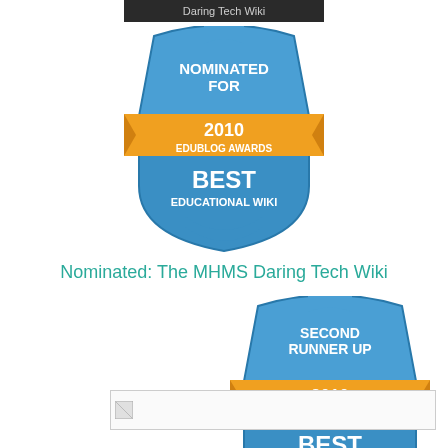[Figure (logo): Dark banner/header image at top of page]
[Figure (logo): Edublog Awards 2010 badge - Nominated For Best Educational Wiki]
Nominated: The MHMS Daring Tech Wiki
[Figure (logo): Edublog Awards 2010 badge - Second Runner Up Best Use of a Virtual Network]
[Figure (photo): Placeholder image at bottom left]